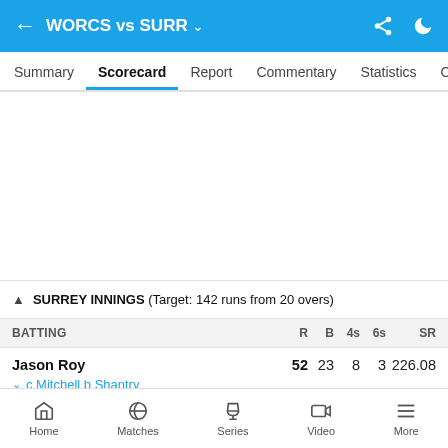WORCS vs SURR
Summary | Scorecard | Report | Commentary | Statistics | Over
SURREY INNINGS (Target: 142 runs from 20 overs)
| BATTING | R | B | 4s | 6s | SR |
| --- | --- | --- | --- | --- | --- |
| Jason Roy
c Mitchell b Shantry | 52 | 23 | 8 | 3 | 226.08 |
| Till… | 1 | 3 | 0 | 0 | 33.33 |
Home | Matches | Series | Video | More